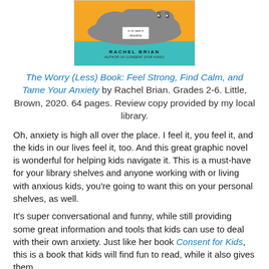[Figure (illustration): Book cover of 'The Worry (Less) Book' by Rachel Brian, showing a cartoon cloud with a name tag reading 'Hi, my name is Anxiety' against an orange and teal background]
The Worry (Less) Book: Feel Strong, Find Calm, and Tame Your Anxiety by Rachel Brian. Grades 2-6. Little, Brown, 2020. 64 pages. Review copy provided by my local library.
Oh, anxiety is high all over the place. I feel it, you feel it, and the kids in our lives feel it, too. And this great graphic novel is wonderful for helping kids navigate it. This is a must-have for your library shelves and anyone working with or living with anxious kids, you're going to want this on your personal shelves, as well.
It's super conversational and funny, while still providing some great information and tools that kids can use to deal with their own anxiety. Just like her book Consent for Kids, this is a book that kids will find fun to read, while it also gives them